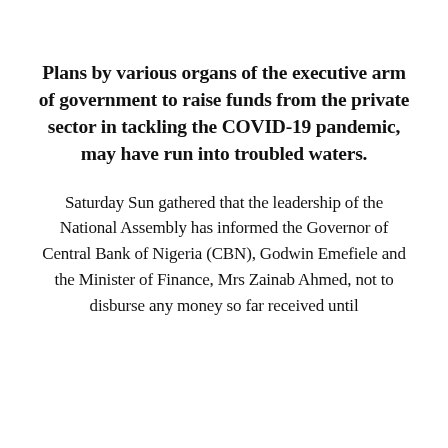Plans by various organs of the executive arm of government to raise funds from the private sector in tackling the COVID-19 pandemic, may have run into troubled waters.
Saturday Sun gathered that the leadership of the National Assembly has informed the Governor of Central Bank of Nigeria (CBN), Godwin Emefiele and the Minister of Finance, Mrs Zainab Ahmed, not to disburse any money so far received until